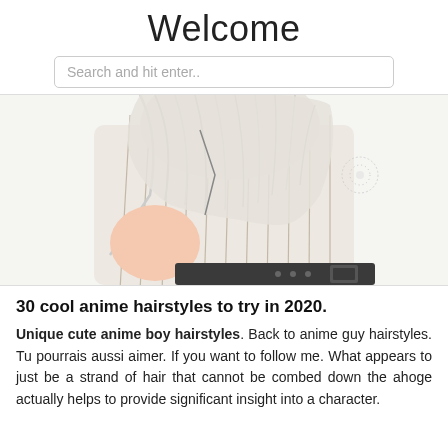Welcome
Search and hit enter..
[Figure (illustration): Anime character illustration showing a figure with white/silver hair wearing a striped shirt and dark belt, viewed from behind/side angle.]
30 cool anime hairstyles to try in 2020.
Unique cute anime boy hairstyles. Back to anime guy hairstyles. Tu pourrais aussi aimer. If you want to follow me. What appears to just be a strand of hair that cannot be combed down the ahoge actually helps to provide significant insight into a character.